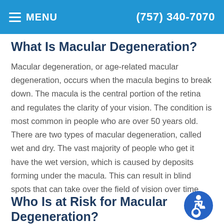MENU | (757) 340-7070
What Is Macular Degeneration?
Macular degeneration, or age-related macular degeneration, occurs when the macula begins to break down. The macula is the central portion of the retina and regulates the clarity of your vision. The condition is most common in people who are over 50 years old. There are two types of macular degeneration, called wet and dry. The vast majority of people who get it have the wet version, which is caused by deposits forming under the macula. This can result in blind spots that can take over the field of vision over time.
Who Is at Risk for Macular Degeneration?
[Figure (illustration): Blue circular accessibility icon with wheelchair user symbol in white]